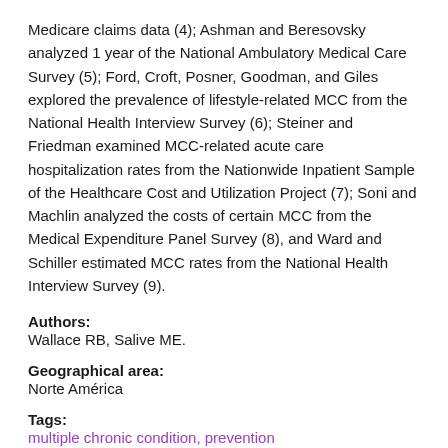Medicare claims data (4); Ashman and Beresovsky analyzed 1 year of the National Ambulatory Medical Care Survey (5); Ford, Croft, Posner, Goodman, and Giles explored the prevalence of lifestyle-related MCC from the National Health Interview Survey (6); Steiner and Friedman examined MCC-related acute care hospitalization rates from the Nationwide Inpatient Sample of the Healthcare Cost and Utilization Project (7); Soni and Machlin analyzed the costs of certain MCC from the Medical Expenditure Panel Survey (8), and Ward and Schiller estimated MCC rates from the National Health Interview Survey (9).
Authors:
Wallace RB, Salive ME.
Geographical area:
Norte América
Tags:
multiple chronic condition, prevention